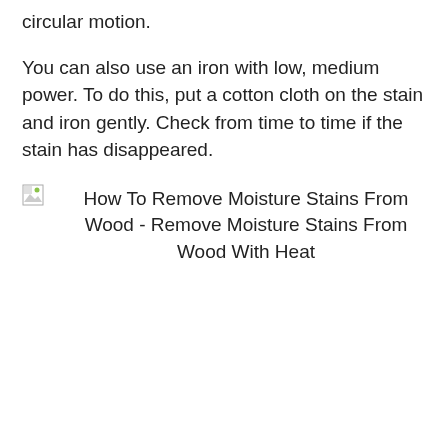circular motion.
You can also use an iron with low, medium power. To do this, put a cotton cloth on the stain and iron gently. Check from time to time if the stain has disappeared.
[Figure (photo): Broken image placeholder with alt text: How To Remove Moisture Stains From Wood - Remove Moisture Stains From Wood With Heat]